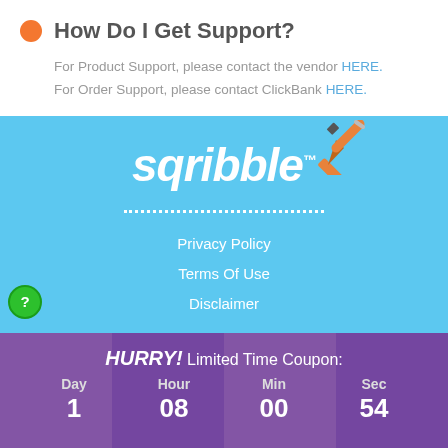How Do I Get Support?
For Product Support, please contact the vendor HERE.
For Order Support, please contact ClickBank HERE.
[Figure (logo): Sqribble logo with pen graphic on blue background]
Privacy Policy
Terms Of Use
Disclaimer
HURRY! Limited Time Coupon:
Day 1  Hour 08  Min 00  Sec 54
$26.80 OFF COUPON: SEP2022